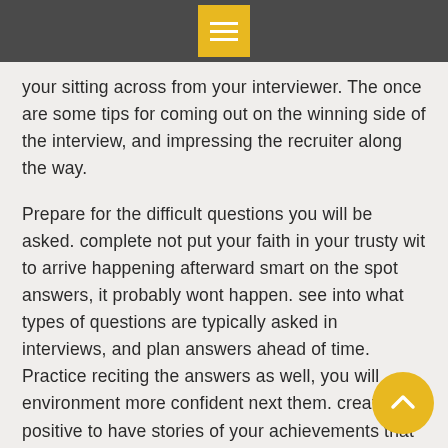menu icon / hamburger navigation button
your sitting across from your interviewer. The once are some tips for coming out on the winning side of the interview, and impressing the recruiter along the way.
Prepare for the difficult questions you will be asked. complete not put your faith in your trusty wit to arrive happening afterward smart on the spot answers, it probably wont happen. see into what types of questions are typically asked in interviews, and plan answers ahead of time. Practice reciting the answers as well, you will environment more confident next them. create positive to have stories of your achievements that will perform the recruiter qualities their company looks for. out of the ordinary excelle resource for your arsenal would be to resear the company and its values. You can thread your